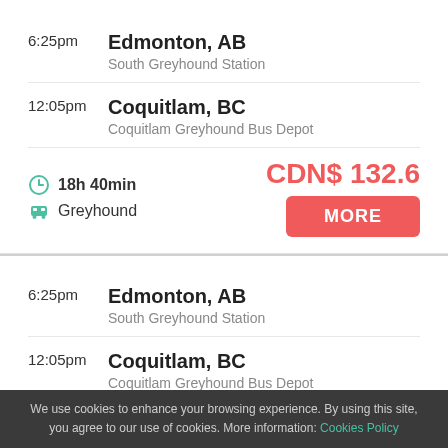6:25pm — Edmonton, AB — South Greyhound Station
12:05pm — Coquitlam, BC — Coquitlam Greyhound Bus Depot
18h 40min — Greyhound — CDN$ 132.6 — MORE
6:25pm — Edmonton, AB — South Greyhound Station
12:05pm — Coquitlam, BC — Coquitlam Greyhound Bus Depot
We use cookies to enhance your browsing experience. By using this site, you agree to our use of cookies. More information: Cookies Policy